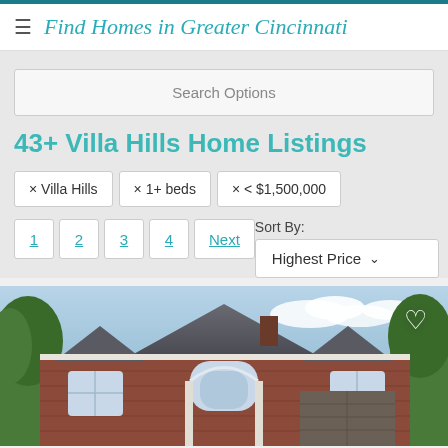Find Homes in Greater Cincinnati
Search Options
43+ Villa Hills Home Listings
× Villa Hills
× 1+ beds
× < $1,500,000
1 2 3 4 Next
Sort By: Highest Price
[Figure (photo): Two-story brick house with arched windows, gray roof, and trees in background under blue sky with clouds]